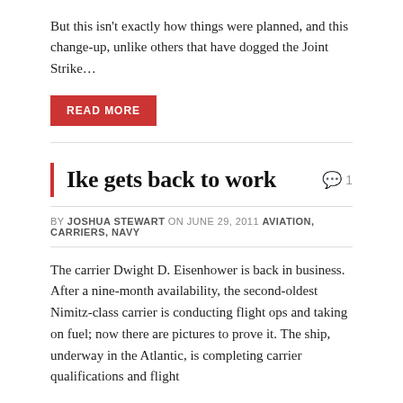But this isn't exactly how things were planned, and this change-up, unlike others that have dogged the Joint Strike…
READ MORE
Ike gets back to work
BY JOSHUA STEWART ON JUNE 29, 2011 AVIATION, CARRIERS, NAVY
The carrier Dwight D. Eisenhower is back in business. After a nine-month availability, the second-oldest Nimitz-class carrier is conducting flight ops and taking on fuel; now there are pictures to prove it. The ship, underway in the Atlantic, is completing carrier qualifications and flight